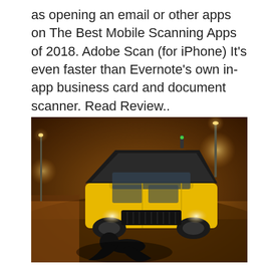as opening an email or other apps on The Best Mobile Scanning Apps of 2018. Adobe Scan (for iPhone) It's even faster than Evernote's own in-app business card and document scanner. Read Review..
[Figure (photo): Nighttime street photo of a yellow taxi cab with its hood open, and a person lying on the ground near the front of the vehicle, on a city street lit by warm orange street lights.]